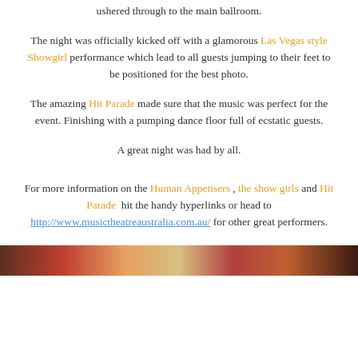ushered through to the main ballroom.
The night was officially kicked off with a glamorous Las Vegas style Showgirl performance which lead to all guests jumping to their feet to be positioned for the best photo.
The amazing Hit Parade made sure that the music was perfect for the event. Finishing with a pumping dance floor full of ecstatic guests.
A great night was had by all.
For more information on the Human Appetisers , the show girls and Hit Parade  hit the handy hyperlinks or head to http://www.musictheatreaustralia.com.au/ for other great performers.
[Figure (photo): Partial view of a photo strip showing people at an event, cropped at the bottom of the page]